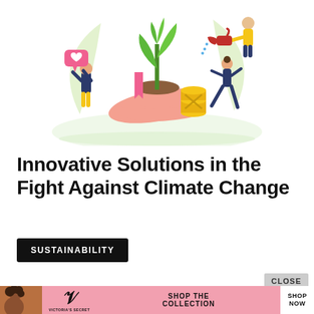[Figure (illustration): Flat-style sustainability illustration: a large pink hand holding a green plant sprout with soil, a person on the left holding a heart speech bubble, a pink bookmark-like shape, a stack of gold coins with an X pattern, a person on the right in yoga/balance pose, and a person at top right watering the plant with a red watering can. Green leaves in the background.]
Innovative Solutions in the Fight Against Climate Change
SUSTAINABILITY
[Figure (photo): Victoria's Secret advertisement banner: woman with curly hair on the left, Victoria's Secret logo in center, 'SHOP THE COLLECTION' text, and 'SHOP NOW' button on the right. Pink background.]